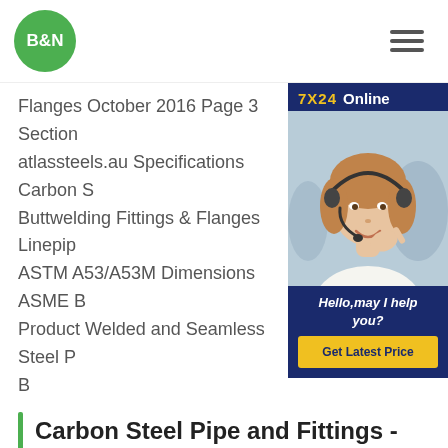[Figure (logo): B&N green circular logo]
Flanges October 2016 Page 3 Section atlassteels.au Specifications Carbon S Buttwelding Fittings & Flanges Linepip ASTM A53/A53M Dimensions ASME B Product Welded and Seamless Steel P B
[Figure (photo): 7X24 Online customer service chat widget with woman wearing headset, Hello may I help you?, Get Latest Price button]
Carbon Steel Pipe and Fittings - Atlas Steels
Welded & Seamless Carbon Steel Pipe to ASME B36.10M All dimensions are in mm Chart of Commom Stainless Steel Pipe Grades Chemical